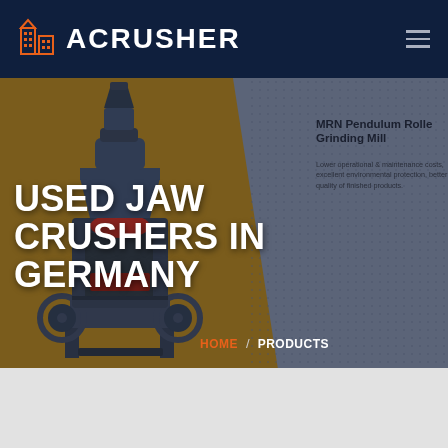ACRUSHER
[Figure (screenshot): Website screenshot of ACRUSHER company page showing used jaw crushers in Germany product page with navigation header, hero image of crusher machine, main title text, and product panel for MRN Pendulum Roller]
USED JAW CRUSHERS IN GERMANY
MRN Pendulum Roller Grinding Mill
Lower operational & maintenance costs, excellent environmental protection, better quality of finished products.
HOME / PRODUCTS